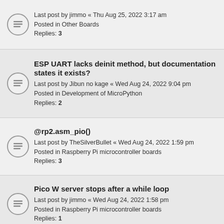Last post by jimmo « Thu Aug 25, 2022 3:17 am
Posted in Other Boards
Replies: 3
ESP UART lacks deinit method, but documentation states it exists?
Last post by Jibun no kage « Wed Aug 24, 2022 9:04 pm
Posted in Development of MicroPython
Replies: 2
@rp2.asm_pio()
Last post by TheSilverBullet « Wed Aug 24, 2022 1:59 pm
Posted in Raspberry Pi microcontroller boards
Replies: 3
Pico W server stops after a while loop
Last post by jimmo « Wed Aug 24, 2022 1:58 pm
Posted in Raspberry Pi microcontroller boards
Replies: 1
urequests and Raspberry Pi Pico W
Last post by misan « Wed Aug 24, 2022 11:54 am
Posted in General Discussion and Questions
Replies: 4
[A9G] How to create firmware and upload it to the